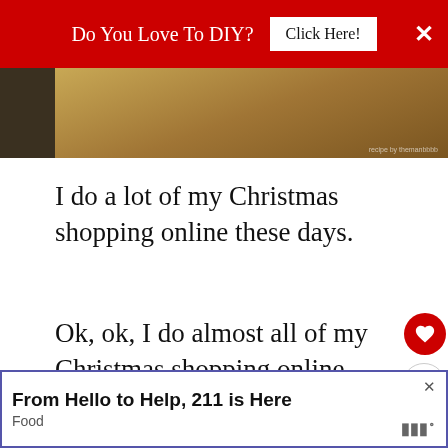[Figure (screenshot): Red advertisement banner at top reading 'Do You Love To DIY? Click Here!' with a close X button]
[Figure (photo): Partial food/recipe photo strip showing warm-toned dish]
I do a lot of my Christmas shopping online these days.
Ok, ok, I do almost all of my Christmas shopping online.
I can get great deals, really unique items and I can do it all with a click, while I'm c... ront of
[Figure (infographic): What's Next widget: 'Can You See Grief?' with circular icon]
[Figure (screenshot): Bottom advertisement bar: 'From Hello to Help, 211 is Here' with Food label and logo]